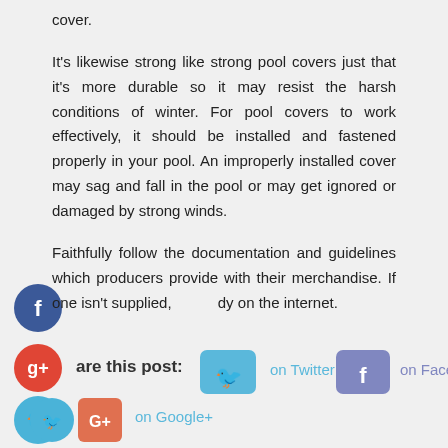cover.
It's likewise strong like strong pool covers just that it's more durable so it may resist the harsh conditions of winter. For pool covers to work effectively, it should be installed and fastened properly in your pool. An improperly installed cover may sag and fall in the pool or may get ignored or damaged by strong winds.
Faithfully follow the documentation and guidelines which producers provide with their merchandise. If one isn't supplied, dy on the internet.
[Figure (infographic): Social share icons and share buttons for Twitter, Facebook, and Google+, plus a tag row with pool cover roller and swimming pool covers tags.]